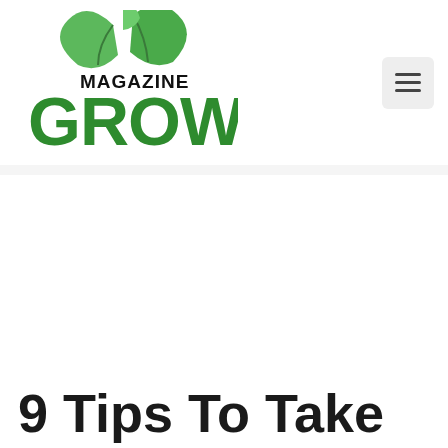[Figure (logo): Magazine Growing logo with green leaf illustration above the word GROWING in bold green letters and MAGAZINE in black above it]
9 Tips To Take